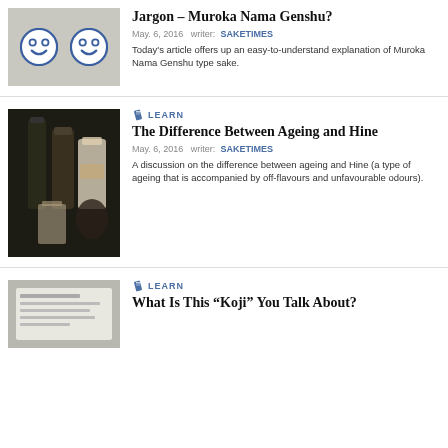[Figure (photo): Two ceramic sake cups with smiley faces]
Jargon – Muroka Nama Genshu?
May. 6, 2016   writer:  SAKETIMES
Today's article offers up an easy-to-understand explanation of Muroka Nama Genshu type sake.
LEARN
[Figure (photo): Sake bottles and glassware on a wooden table]
The Difference Between Ageing and Hine
May. 6, 2016   writer:  SAKETIMES
A discussion on the difference between ageing and Hine (a type of ageing that is accompanied by off-flavours and unfavourable odours).
LEARN
[Figure (photo): Paper or book close-up]
What Is This “Koji” You Talk About?